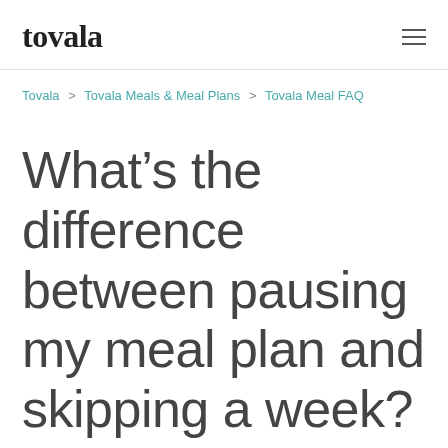tovala
Tovala > Tovala Meals & Meal Plans > Tovala Meal FAQ
What's the difference between pausing my meal plan and skipping a week?
1 day ago · Updated